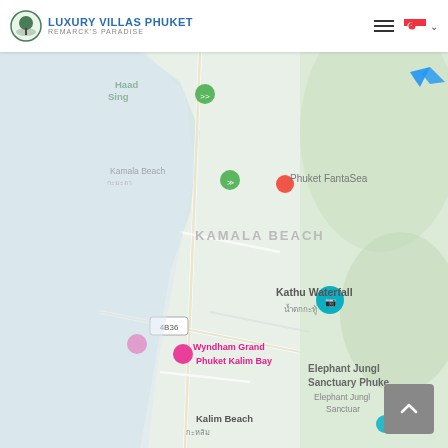Luxury Villas Phuket - Remarck's Paradise
[Figure (map): Google Maps screenshot showing Kamala Beach area of Phuket, Thailand. Visible landmarks include Haad Sing, Kamala Beach, Phuket FantaSea, Kathu Waterfall, Wyndham Grand Phuket Kalim Bay, Elephant Jungle Sanctuary Phuket, and Kalim Beach.]